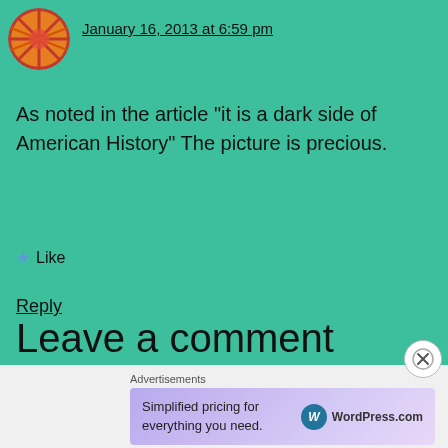[Figure (photo): Circular avatar image showing a colorful fabric or textile pattern in reds, oranges and yellows]
January 16, 2013 at 6:59 pm
As noted in the article “it is a dark side of American History” The picture is precious.
★ Like
Reply
Leave a comment
Advertisements
[Figure (screenshot): WordPress.com advertisement banner: 'Simplified pricing for everything you need.' with WordPress.com logo]